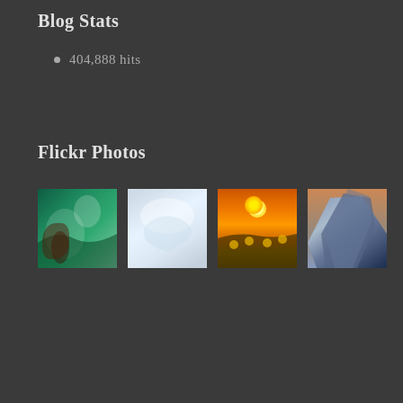Blog Stats
404,888 hits
Flickr Photos
[Figure (photo): Four Flickr photos in a row: an ocean wave (green), a misty waterfall (white/blue), a sunflower field at sunset (orange), and a rocky mountain peak (blue-grey)]
More Photos
Blog at WordPress.com.